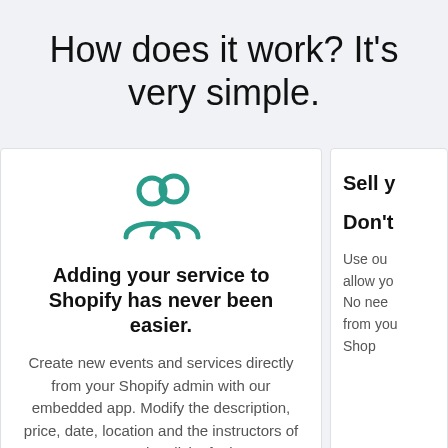How does it work? It's very simple.
[Figure (illustration): Teal icon of two people / users group]
Adding your service to Shopify has never been easier.
Create new events and services directly from your Shopify admin with our embedded app. Modify the description, price, date, location and the instructors of your event, at the click of a button!
Sell y...
Don't...
Use ou... allow yo... No nee... from you... Shop...